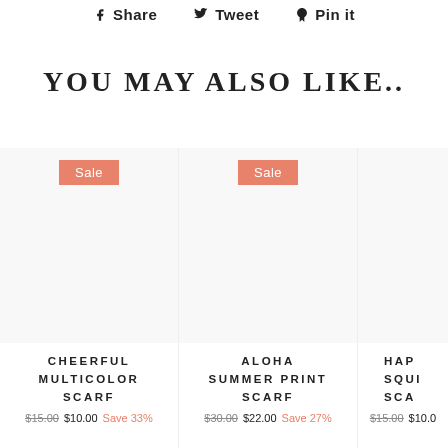Share  Tweet  Pin it
YOU MAY ALSO LIKE..
Sale
[Figure (photo): Product image placeholder for Cheerful Multicolor Scarf]
CHEERFUL MULTICOLOR SCARF
$15.00  $10.00  Save 33%
Sale
[Figure (photo): Product image placeholder for Aloha Summer Print Scarf]
ALOHA SUMMER PRINT SCARF
$30.00  $22.00  Save 27%
[Figure (photo): Product image placeholder for Happy Squiggly Scarf (partially visible)]
HAP... SQUI... SCA...
$15.00  $10.0...